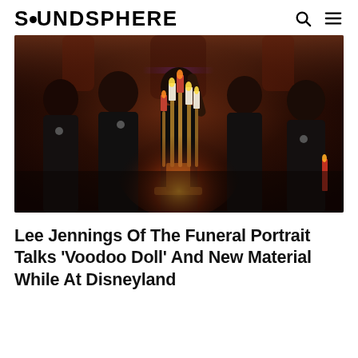SOUNDSPHERE
[Figure (photo): Band photo of The Funeral Portrait members dressed in black, posed around candelabras with lit candles in a dark, moody church-like setting with stained glass windows in the background]
Lee Jennings Of The Funeral Portrait Talks 'Voodoo Doll' And New Material While At Disneyland